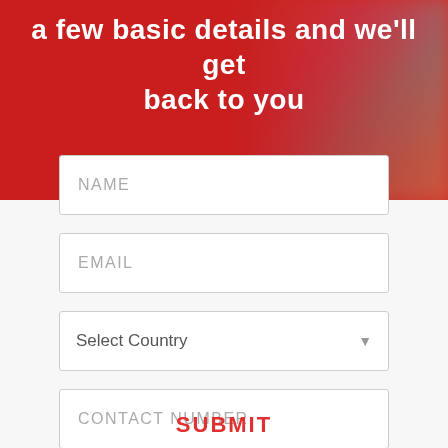a few basic details and we'll get back to you
[Figure (illustration): Red background with blurred photo of people in colorful outfits on the right side]
NAME
EMAIL
Select Country
CONTACT NUMBER
Resort
SUBMIT